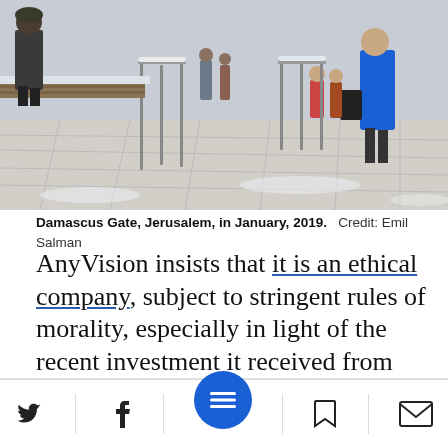[Figure (photo): Outdoor scene at Damascus Gate, Jerusalem, showing people walking near metal barriers and railings in snowy/wintry conditions. A soldier or guard visible on the left, pedestrians and a woman in blue coat on the right.]
Damascus Gate, Jerusalem, in January, 2019.   Credit: Emil Salman
AnyVision insists that it is an ethical company, subject to stringent rules of morality, especially in light of the recent investment it received from Microsoft. However, the NBC News reporter talked with several former company workers who claimed that this was not the case. One former employee was quoted as saying: “Ultimately, I saw no evidence that